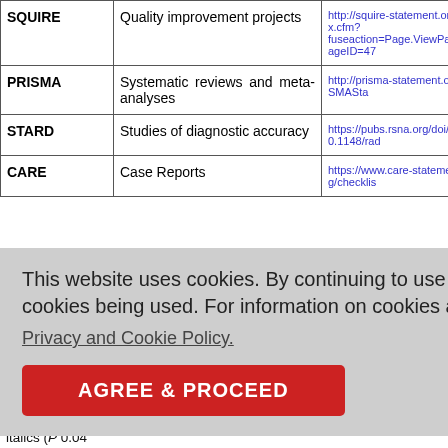|  | Study Type | URL |
| --- | --- | --- |
| SQUIRE | Quality improvement projects | http://squire-statement.org/index.cfm?fuseaction=Page.ViewPage&PageID=47 |
| PRISMA | Systematic reviews and meta-analyses | http://prisma-statement.org/PRISMAStatement/... |
| STARD | Studies of diagnostic accuracy | https://pubs.rsna.org/doi/full/10.1148/rad... |
| CARE | Case Reports | https://www.care-statement.org/checklis... |
[Figure (screenshot): Cookie consent popup overlay with text: 'This website uses cookies. By continuing to use this website you are giving consent to cookies being used. For information on cookies and how you can disable them visit our Privacy and Cookie Policy.' and an 'AGREE & PROCEED' red button.]
ith appropriate report los ults section, statistics, s le'. Define s and most symbols. Specify the computer software used. Use upper italics (P 0.04...